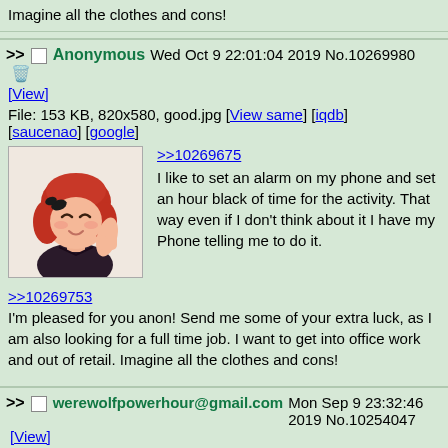Imagine all the clothes and cons!
>> Anonymous Wed Oct 9 22:01:04 2019 No.10269980 [View]
File: 153 KB, 820x580, good.jpg [View same] [iqdb] [saucenao] [google]
[Figure (illustration): Anime girl with red hair giving thumbs up]
>>10269675
I like to set an alarm on my phone and set an hour black of time for the activity. That way even if I don't think about it I have my Phone telling me to do it.
>>10269753
I'm pleased for you anon! Send me some of your extra luck, as I am also looking for a full time job. I want to get into office work and out of retail. Imagine all the clothes and cons!
>> werewolfpowerhour@gmail.com Mon Sep 9 23:32:46 2019 No.10254047 [View]
File: 153 KB, 820x580, good.jpg [View same] [iqdb] [saucenao] [google]